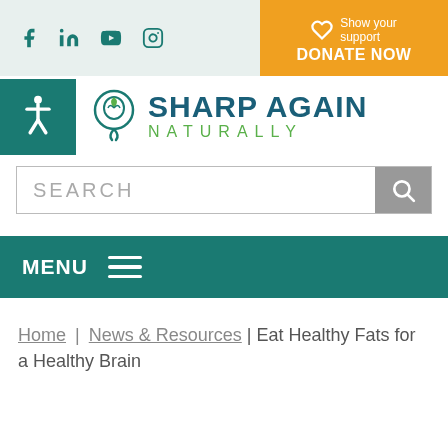[Figure (screenshot): Social media icons: Facebook, LinkedIn, YouTube, Instagram in teal on light green background]
[Figure (infographic): Orange donate banner with heart icon, text 'Show your support DONATE NOW']
[Figure (logo): Sharp Again Naturally logo with brain/leaf icon, teal and green text]
SEARCH
MENU
Home | News & Resources | Eat Healthy Fats for a Healthy Brain